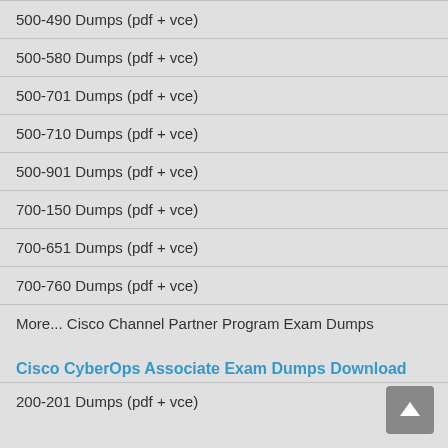500-490 Dumps (pdf + vce)
500-580 Dumps (pdf + vce)
500-701 Dumps (pdf + vce)
500-710 Dumps (pdf + vce)
500-901 Dumps (pdf + vce)
700-150 Dumps (pdf + vce)
700-651 Dumps (pdf + vce)
700-760 Dumps (pdf + vce)
More... Cisco Channel Partner Program Exam Dumps
Cisco CyberOps Associate Exam Dumps Download
200-201 Dumps (pdf + vce)